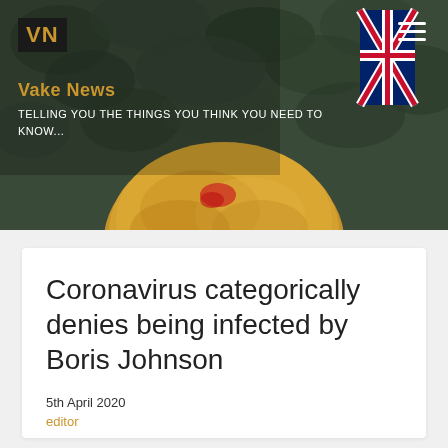[Figure (photo): Header image showing back of a blonde-haired person with a Union Jack flag in the background against dark foliage. Vake News logo and site header overlay the image.]
Coronavirus categorically denies being infected by Boris Johnson
5th April 2020
editor